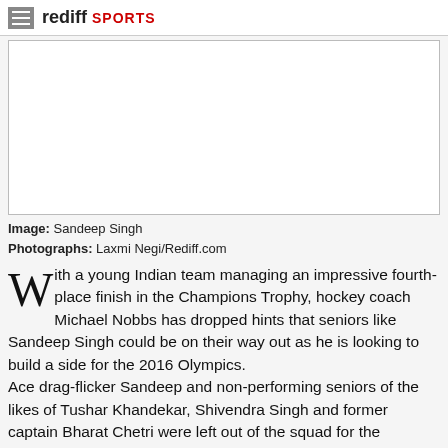rediff SPORTS
[Figure (photo): White/blank image placeholder for Sandeep Singh photograph]
Image: Sandeep Singh
Photographs: Laxmi Negi/Rediff.com
With a young Indian team managing an impressive fourth-place finish in the Champions Trophy, hockey coach Michael Nobbs has dropped hints that seniors like Sandeep Singh could be on their way out as he is looking to build a side for the 2016 Olympics. Ace drag-flicker Sandeep and non-performing seniors of the likes of Tushar Khandekar, Shivendra Singh and former captain Bharat Chetri were left out of the squad for the Champions Trophy, where the Sardar Singh-led India, playing in the event after six long years, managed